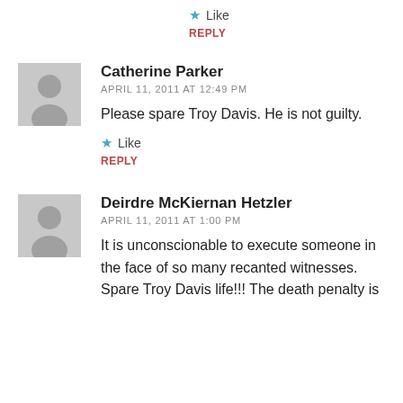★ Like
REPLY
Catherine Parker
APRIL 11, 2011 AT 12:49 PM
Please spare Troy Davis. He is not guilty.
★ Like
REPLY
Deirdre McKiernan Hetzler
APRIL 11, 2011 AT 1:00 PM
It is unconscionable to execute someone in the face of so many recanted witnesses. Spare Troy Davis life!!! The death penalty is